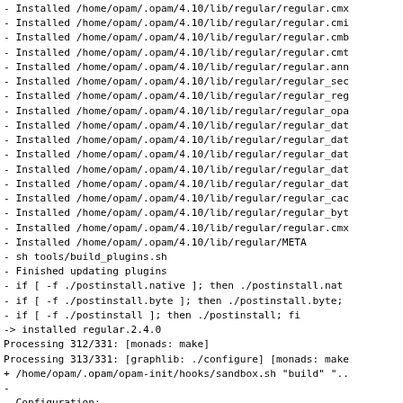- Installed /home/opam/.opam/4.10/lib/regular/regular.cmx
- Installed /home/opam/.opam/4.10/lib/regular/regular.cmi
- Installed /home/opam/.opam/4.10/lib/regular/regular.cmb
- Installed /home/opam/.opam/4.10/lib/regular/regular.cmt
- Installed /home/opam/.opam/4.10/lib/regular/regular.ann
- Installed /home/opam/.opam/4.10/lib/regular/regular_sec
- Installed /home/opam/.opam/4.10/lib/regular/regular_reg
- Installed /home/opam/.opam/4.10/lib/regular/regular_opa
- Installed /home/opam/.opam/4.10/lib/regular/regular_dat
- Installed /home/opam/.opam/4.10/lib/regular/regular_dat
- Installed /home/opam/.opam/4.10/lib/regular/regular_dat
- Installed /home/opam/.opam/4.10/lib/regular/regular_dat
- Installed /home/opam/.opam/4.10/lib/regular/regular_dat
- Installed /home/opam/.opam/4.10/lib/regular/regular_cac
- Installed /home/opam/.opam/4.10/lib/regular/regular_byt
- Installed /home/opam/.opam/4.10/lib/regular/regular.cmx
- Installed /home/opam/.opam/4.10/lib/regular/META
- sh tools/build_plugins.sh
- Finished updating plugins
- if [ -f ./postinstall.native ]; then ./postinstall.nat
- if [ -f ./postinstall.byte ]; then ./postinstall.byte;
- if [ -f ./postinstall ]; then ./postinstall; fi
-> installed regular.2.4.0
Processing 312/331: [monads: make]
Processing 313/331: [graphlib: ./configure] [monads: make
+ /home/opam/.opam/opam-init/hooks/sandbox.sh "build" "..
-
- Configuration:
- ocamlfind: ..........................................
- ocamlc: ..........................................